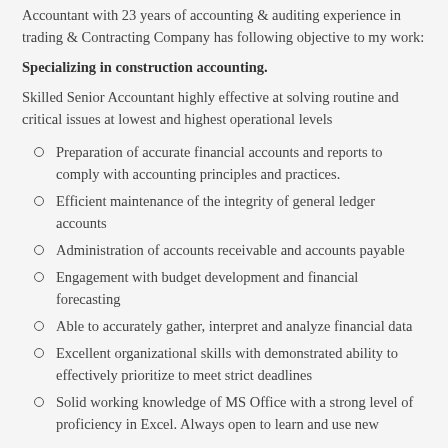Accountant with 23 years of accounting & auditing experience in trading & Contracting Company has following objective to my work:
Specializing in construction accounting.
Skilled Senior Accountant highly effective at solving routine and critical issues at lowest and highest operational levels
Preparation of accurate financial accounts and reports to comply with accounting principles and practices.
Efficient maintenance of the integrity of general ledger accounts
Administration of accounts receivable and accounts payable
Engagement with budget development and financial forecasting
Able to accurately gather, interpret and analyze financial data
Excellent organizational skills with demonstrated ability to effectively prioritize to meet strict deadlines
Solid working knowledge of MS Office with a strong level of proficiency in Excel. Always open to learn and use new